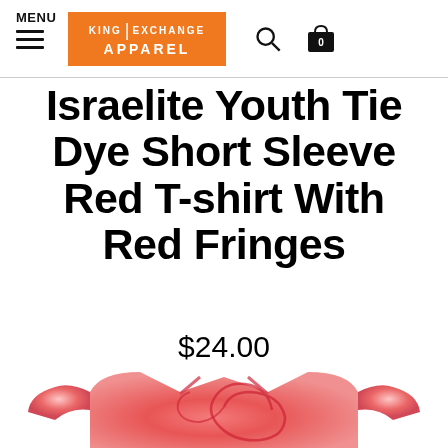MENU
[Figure (logo): King Exchange Apparel logo on orange background]
Israelite Youth Tie Dye Short Sleeve Red T-shirt With Red Fringes
$24.00
[Figure (photo): Red tie-dye short sleeve t-shirt with red fringes, spiral pattern in pink and red tones]